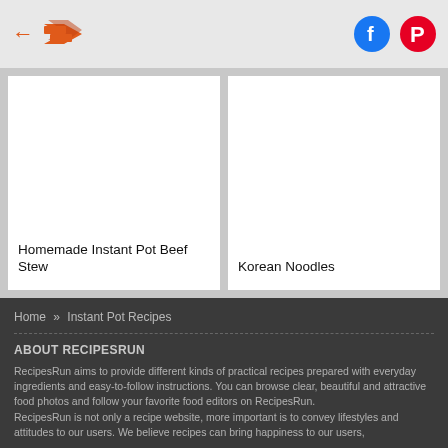← [logo] [Facebook] [Pinterest]
[Figure (photo): Two recipe cards side by side: left card shows Homemade Instant Pot Beef Stew, right card shows Korean Noodles]
Homemade Instant Pot Beef Stew
Korean Noodles
Home » Instant Pot Recipes
ABOUT RECIPESRUN
RecipesRun aims to provide different kinds of practical recipes prepared with everyday ingredients and easy-to-follow instructions. You can browse clear, beautiful and attractive food photos and follow your favorite food editors on RecipesRun.
RecipesRun is not only a recipe website, more important is to convey lifestyles and attitudes to our users. We believe recipes can bring happiness to our users, And the recipes can...